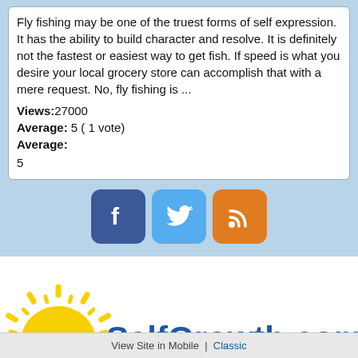Fly fishing may be one of the truest forms of self expression. It has the ability to build character and resolve. It is definitely not the fastest or easiest way to get fish. If speed is what you desire your local grocery store can accomplish that with a mere request. No, fly fishing is ...
Views:27000
Average: 5 ( 1 vote)
Average:
5
[Figure (logo): SelfGrowth.com logo with sun graphic and tagline 'The Online Self Improvement Community']
View Site in Mobile  |  Classic